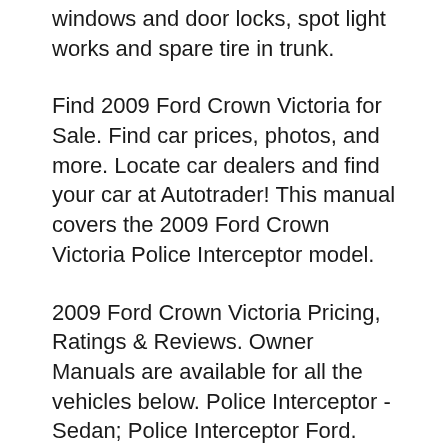windows and door locks, spot light works and spare tire in trunk.
Find 2009 Ford Crown Victoria for Sale. Find car prices, photos, and more. Locate car dealers and find your car at Autotrader! This manual covers the 2009 Ford Crown Victoria Police Interceptor model.
2009 Ford Crown Victoria Pricing, Ratings & Reviews. Owner Manuals are available for all the vehicles below. Police Interceptor - Sedan; Police Interceptor Ford. Crown Victoria; E-150; E-250; E-350; E-450; Edge;, Where's the windshield wiper motor fuse located for a 2009 Ford Crown Victoria Police